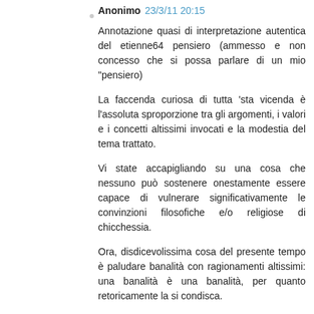Anonimo 23/3/11 20:15
Annotazione quasi di interpretazione autentica del etienne64 pensiero (ammesso e non concesso che si possa parlare di un mio "pensiero)
La faccenda curiosa di tutta 'sta vicenda è l'assoluta sproporzione tra gli argomenti, i valori e i concetti altissimi invocati e la modestia del tema trattato.
Vi state accapigliando su una cosa che nessuno può sostenere onestamente essere capace di vulnerare significativamente le convinzioni filosofiche e/o religiose di chicchessia.
Ora, disdicevolissima cosa del presente tempo è paludare banalità con ragionamenti altissimi: una banalità è una banalità, per quanto retoricamente la si condisca.
Se taluno nella ressa sull'autobus inavvertitamente mi spinge, è inutile tirare in ballo l'art.32 Cost.: si tratta di un episodio che DEVE rimanere nell'ambito della normale tolleranza ai comportamenti molesti altrui.